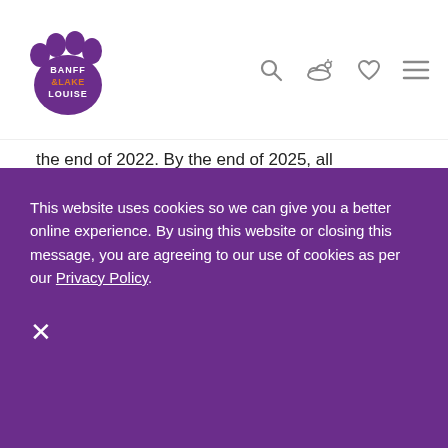[Figure (logo): Banff & Lake Louise logo — purple bear paw print with stylized text]
the end of 2022. By the end of 2025, all individual toiletries and cups. Learn more
SUSTAINABLE TRANSPORTATION WITHIN BANFF NATIONAL PARK
Did you know you don't need a vehicle at all to get around Banff National Park?
In the high season, June to September, BLLT
This website uses cookies so we can give you a better online experience. By using this website or closing this message, you are agreeing to our use of cookies as per our Privacy Policy.